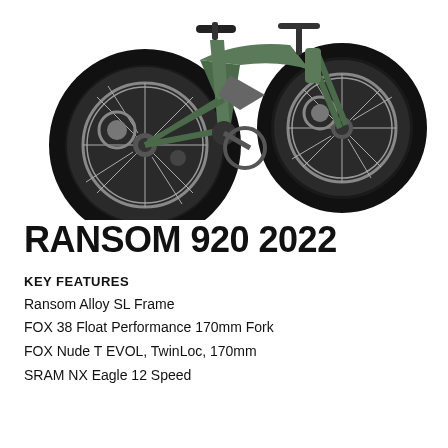[Figure (photo): Green full-suspension mountain bike (Scott Ransom 920 2022) shown from the side, cropped to show front and rear wheel with green alloy frame, FOX fork, disc brakes, and knobby tires.]
RANSOM 920 2022
KEY FEATURES
Ransom Alloy SL Frame
FOX 38 Float Performance 170mm Fork
FOX Nude T EVOL, TwinLoc, 170mm
SRAM NX Eagle 12 Speed